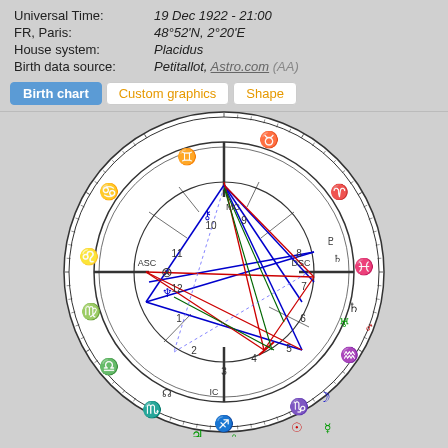Universal Time: 19 Dec 1922 - 21:00
FR, Paris: 48°52'N, 2°20'E
House system: Placidus
Birth data source: Petitallot, Astro.com (AA)
Birth chart | Custom graphics | Shape
[Figure (other): Astrological birth chart wheel showing zodiac signs, house numbers, planets, and aspect lines (red, blue, green) in a double-ring circular chart layout. MC at top, ASC on left, DSC on right, IC at bottom.]